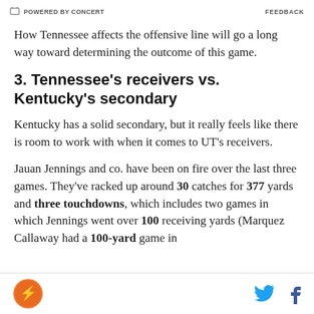POWERED BY CONCERT | FEEDBACK
How Tennessee affects the offensive line will go a long way toward determining the outcome of this game.
3. Tennessee's receivers vs. Kentucky's secondary
Kentucky has a solid secondary, but it really feels like there is room to work with when it comes to UT's receivers.
Jauan Jennings and co. have been on fire over the last three games. They've racked up around 30 catches for 377 yards and three touchdowns, which includes two games in which Jennings went over 100 receiving yards (Marquez Callaway had a 100-yard game in